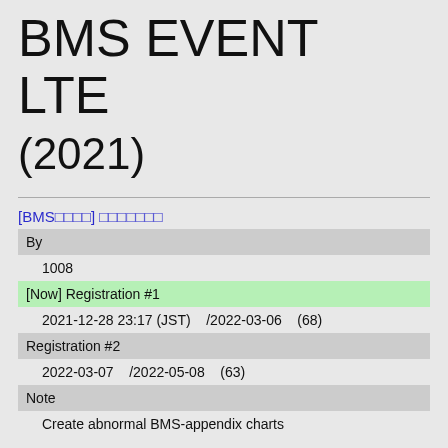BMS EVENT LTE (2021)
[BMS□□□□] □□□□□□□
| By |  |
|  | 1008 |
| [Now] Registration #1 |  |
|  | 2021-12-28 23:17 (JST)    /2022-03-06    (68) |
| Registration #2 |  |
|  | 2022-03-07    /2022-05-08    (63) |
| Note |  |
|  | Create abnormal BMS-appendix charts |